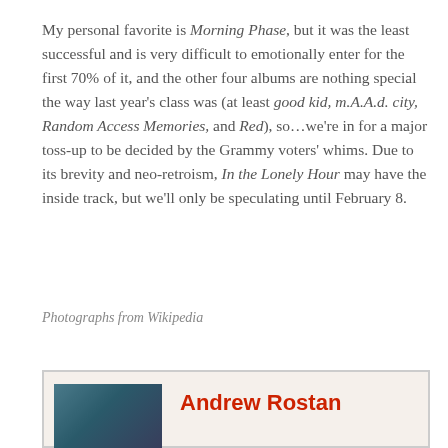My personal favorite is Morning Phase, but it was the least successful and is very difficult to emotionally enter for the first 70% of it, and the other four albums are nothing special the way last year's class was (at least good kid, m.A.A.d. city, Random Access Memories, and Red), so…we're in for a major toss-up to be decided by the Grammy voters' whims. Due to its brevity and neo-retroism, In the Lonely Hour may have the inside track, but we'll only be speculating until February 8.
Photographs from Wikipedia
Andrew Rostan